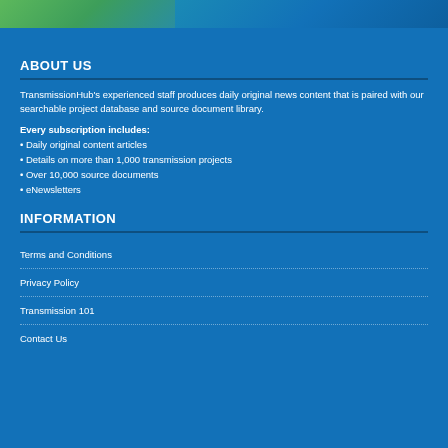[Figure (photo): A cropped banner image showing outdoor transmission/energy-related scene with green and blue tones]
ABOUT US
TransmissionHub's experienced staff produces daily original news content that is paired with our searchable project database and source document library.
Every subscription includes:
Daily original content articles
Details on more than 1,000 transmission projects
Over 10,000 source documents
eNewsletters
INFORMATION
Terms and Conditions
Privacy Policy
Transmission 101
Contact Us